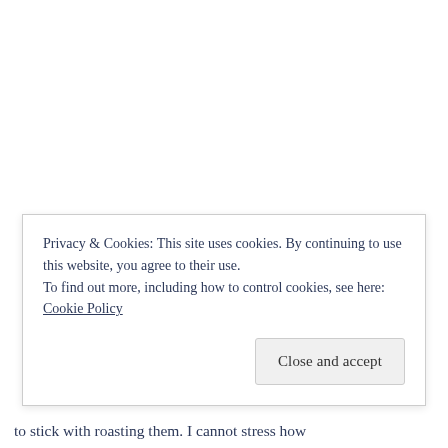Privacy & Cookies: This site uses cookies. By continuing to use this website, you agree to their use. To find out more, including how to control cookies, see here: Cookie Policy
Close and accept
to stick with roasting them. I cannot stress how